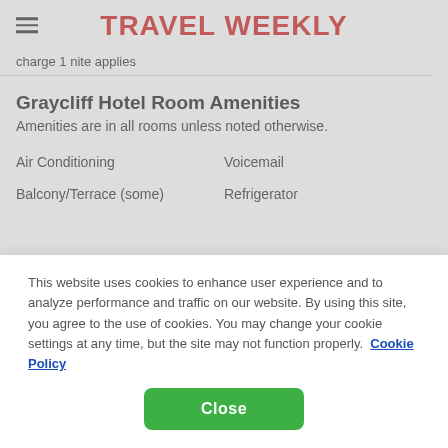TRAVEL WEEKLY
charge 1 nite applies
Graycliff Hotel Room Amenities
Amenities are in all rooms unless noted otherwise.
Air Conditioning
Voicemail
Balcony/Terrace (some)
Refrigerator
This website uses cookies to enhance user experience and to analyze performance and traffic on our website. By using this site, you agree to the use of cookies. You may change your cookie settings at any time, but the site may not function properly. Cookie Policy